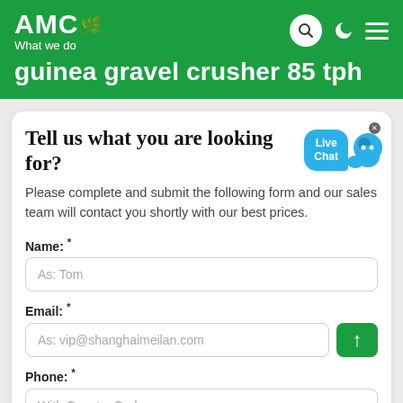AMC What we do
guinea gravel crusher 85 tph
Tell us what you are looking for?
Please complete and submit the following form and our sales team will contact you shortly with our best prices.
Name: *
As: Tom
Email: *
As: vip@shanghaimeilan.com
Phone: *
With Country Code